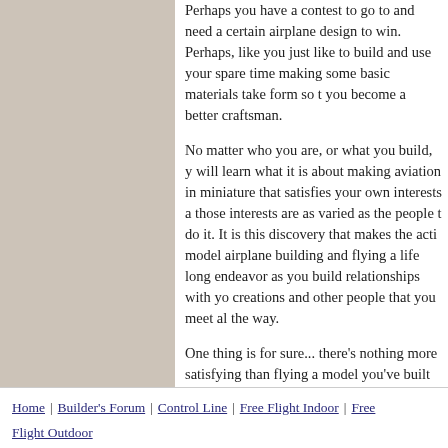Perhaps you have a contest to go to and need a certain airplane design to win. Perhaps, like me, you just like to build and use your spare time making some basic materials take form so that you become a better craftsman.
No matter who you are, or what you build, you will learn what it is about making aviation in miniature that satisfies your own interests and those interests are as varied as the people that do it. It is this discovery that makes the activity of model airplane building and flying a life long endeavor as you build relationships with your creations and other people that you meet along the way.
One thing is for sure... there's nothing more satisfying than flying a model you've built yourself.
Bruce Feaver
Home | Builder's Forum | Control Line | Free Flight Indoor | Free Flight Outdoor